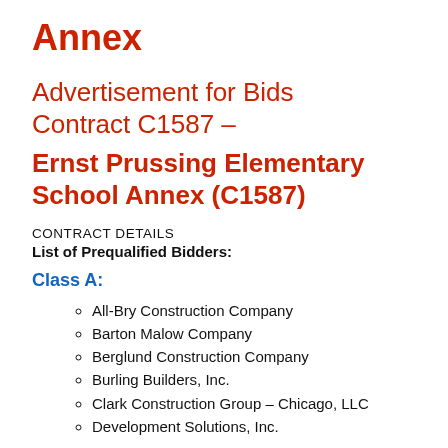Annex
Advertisement for Bids Contract C1587 – Ernst Prussing Elementary School Annex (C1587)
CONTRACT DETAILS
List of Prequalified Bidders:
Class A:
All-Bry Construction Company
Barton Malow Company
Berglund Construction Company
Burling Builders, Inc.
Clark Construction Group – Chicago, LLC
Development Solutions, Inc.